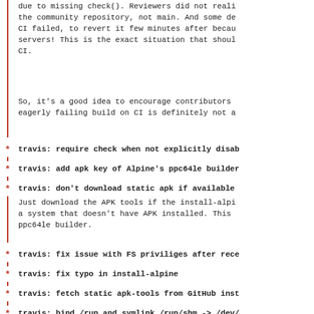due to missing check(). Reviewers did not reali the community repository, not main. And some de CI failed, to revert it few minutes after becau servers! This is the exact situation that shoul CI.
So, it's a good idea to encourage contributors eagerly failing build on CI is definitely not a
travis: require check when not explicitly disab
travis: add apk key of Alpine's ppc64le builder
travis: don't download static apk if available
Just download the APK tools if the install-alpi a system that doesn't have APK installed. This ppc64le builder.
travis: fix issue with FS priviliges after rece
travis: fix typo in install-alpine
travis: fetch static apk-tools from GitHub inst
travis: bind /run and symlink /run/shm -> /dev/